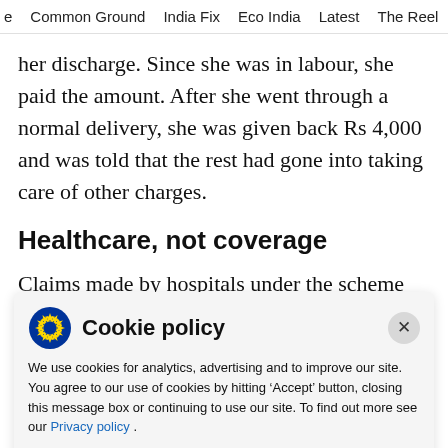e   Common Ground   India Fix   Eco India   Latest   The Reel
her discharge. Since she was in labour, she paid the amount. After she went through a normal delivery, she was given back Rs 4,000 and was told that the rest had gone into taking care of other charges.
Healthcare, not coverage
Claims made by hospitals under the scheme have
Cookie policy
We use cookies for analytics, advertising and to improve our site. You agree to our use of cookies by hitting ‘Accept’ button, closing this message box or continuing to use our site. To find out more see our Privacy policy .
Accept